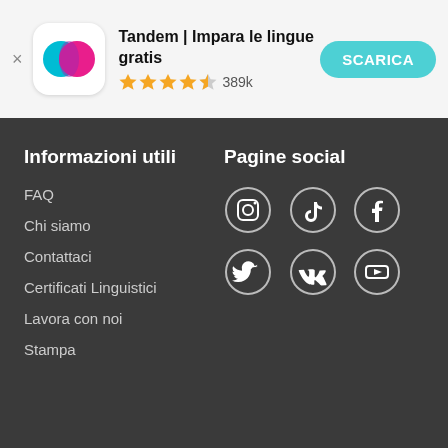[Figure (screenshot): App banner for Tandem language learning app with icon, title, star rating 389k, and download button]
Informazioni utili
FAQ
Chi siamo
Contattaci
Certificati Linguistici
Lavora con noi
Stampa
Pagine social
[Figure (illustration): Social media icon buttons: Instagram, TikTok, Facebook, Twitter, VK, YouTube — white icons in dark circles]